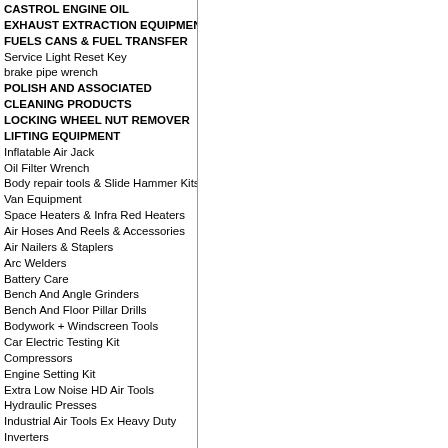CASTROL ENGINE OIL
EXHAUST EXTRACTION EQUIPMENT
FUELS CANS & FUEL TRANSFER
Service Light Reset Key
brake pipe wrench
POLISH AND ASSOCIATED
CLEANING PRODUCTS
LOCKING WHEEL NUT REMOVER
LIFTING EQUIPMENT
Inflatable Air Jack
Oil Filter Wrench
Body repair tools & Slide Hammer Kits
Van Equipment
Space Heaters & Infra Red Heaters
Air Hoses And Reels & Accessories
Air Nailers & Staplers
Arc Welders
Battery Care
Bench And Angle Grinders
Bench And Floor Pillar Drills
Bodywork + Windscreen Tools
Car Electric Testing Kit
Compressors
Engine Setting Kit
Extra Low Noise HD Air Tools
Hydraulic Presses
Industrial Air Tools Ex Heavy Duty
Inverters
Mig Welders
MotorBike Wheel Stands & wheel locks
Oil/Fluid Extractor
Patio Heaters/Trade Fans
Plasma Cutters
Pressure Washers
Professional Dehumidifiers
Air Tools Professional range
Spray Guns/Air Dusters
Test Kit & Maintenance kit
Trade Air Tools
Trade Generators
Water Pumps Electric